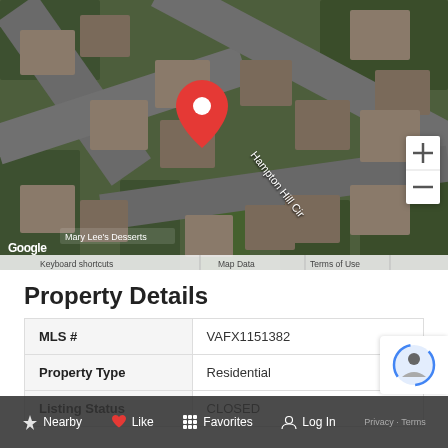[Figure (map): Aerial satellite map view showing Hampton Hill Cir neighborhood with a red location pin marker, street intersections, and surrounding residential homes with trees. Map includes Google watermark, keyboard shortcuts, Map Data and Terms of Use labels, and zoom controls.]
Property Details
| Field | Value |
| --- | --- |
| MLS # | VAFX1151382 |
| Property Type | Residential |
| Listing Status | CLOSED |